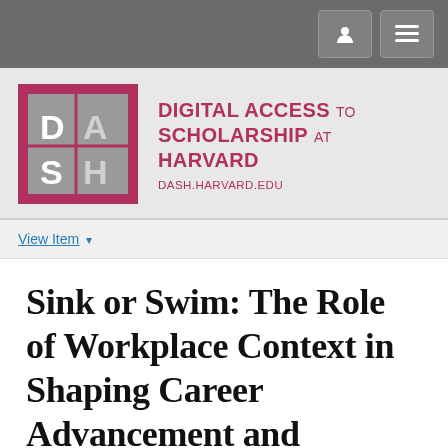[Figure (logo): Navigation bar with user icon and hamburger menu buttons on dark grey background]
[Figure (logo): DASH (Digital Access to Scholarship at Harvard) logo — red-bordered square with grey inner square showing D A / S H letters, beside the text DIGITAL ACCESS TO SCHOLARSHIP AT HARVARD and DASH.HARVARD.EDU]
View Item
Sink or Swim: The Role of Workplace Context in Shaping Career Advancement and Human-Capital Development